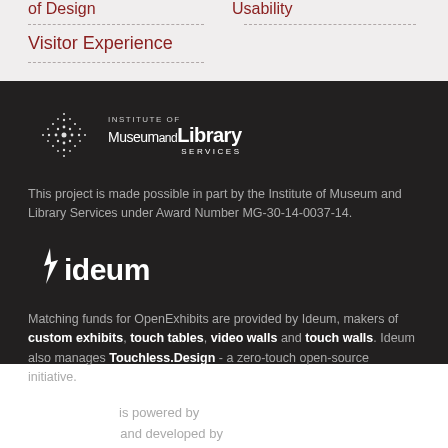of Design
Usability
Visitor Experience
[Figure (logo): Institute of Museum and Library Services logo with starburst graphic]
This project is made possible in part by the Institute of Museum and Library Services under Award Number MG-30-14-0037-14.
[Figure (logo): Ideum logo in white text with spark icon]
Matching funds for OpenExhibits are provided by Ideum, makers of custom exhibits, touch tables, video walls and touch walls. Ideum also manages Touchless.Design - a zero-touch open-source initiative.
Open Exhibits is powered by GestureWorks and developed by Ideum.